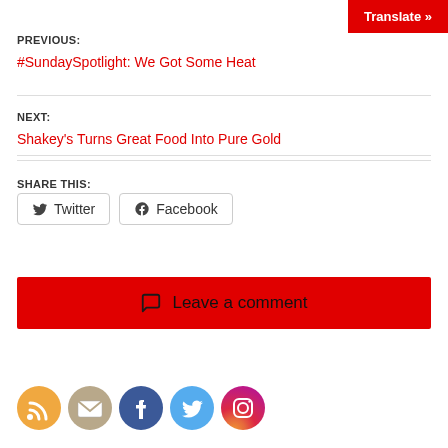Translate »
PREVIOUS:
#SundaySpotlight: We Got Some Heat
NEXT:
Shakey's Turns Great Food Into Pure Gold
SHARE THIS:
Twitter   Facebook
Leave a comment
[Figure (illustration): Row of social media icons: RSS (orange), Email (tan/beige), Facebook (blue), Twitter (light blue), Instagram (purple gradient)]